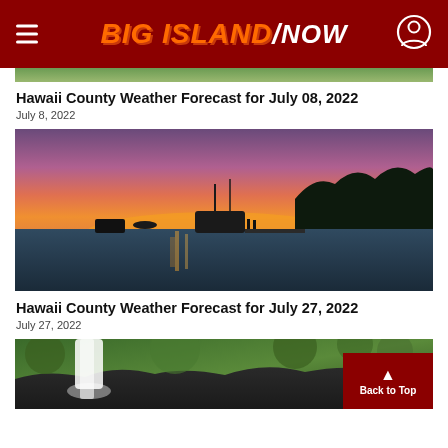BIG ISLAND NOW
[Figure (photo): Partial view of green tropical foliage (cropped image top)]
Hawaii County Weather Forecast for July 08, 2022
July 8, 2022
[Figure (photo): Boats on water at sunset with orange and purple sky and dark tropical treeline silhouette]
Hawaii County Weather Forecast for July 27, 2022
July 27, 2022
[Figure (photo): Waterfall cascading over dark lava rocks surrounded by tropical green vegetation]